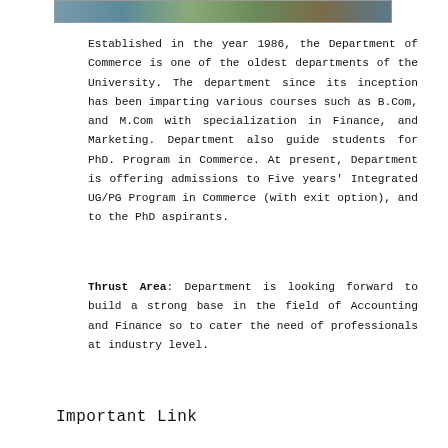[Figure (photo): A photo strip at top showing people, partially cropped]
Established in the year 1986, the Department of Commerce is one of the oldest departments of the University. The department since its inception has been imparting various courses such as B.Com, and M.Com with specialization in Finance, and Marketing. Department also guide students for PhD. Program in Commerce. At present, Department is offering admissions to Five years' Integrated UG/PG Program in Commerce (with exit option), and to the PhD aspirants.
Thrust Area: Department is looking forward to build a strong base in the field of Accounting and Finance so to cater the need of professionals at industry level.
Important Link